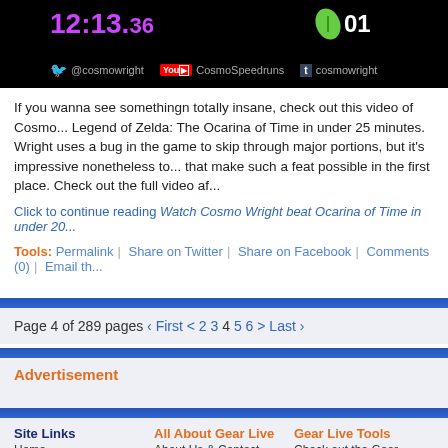[Figure (screenshot): Video screenshot showing a speedrun timer reading 12:13.36 with a leaf icon and social media handles: @cosmowright on Twitter, CosmoSpeedruns on YouTube, cosmowright on Tumblr]
If you wanna see somethingn totally insane, check out this video of Cosmo... Legend of Zelda: The Ocarina of Time in under 25 minutes. Wright uses a bug in the game to skip through major portions, but it's impressive nonetheless to... that make such a feat possible in the first place. Check out the full video af...
Click to continue reading Watch Cosmo Wright beat Ocarina of Time in under 20...
Tools: Permalink | Share on Twitter | Share on Facebook | Comments (0) | Email th...
Page 4 of 289 pages ‹ First < 2 3 4 5 6 > Last ›
Advertisement
Site Links | All About Gear Live | Gear Live Tools
Home | About Us & Contact | Check out the Gear...